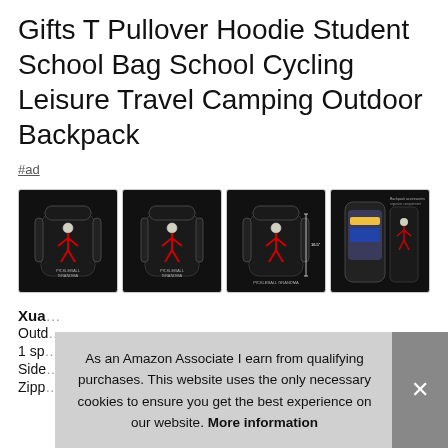Gifts T Pullover Hoodie Student School Bag School Cycling Leisure Travel Camping Outdoor Backpack
#ad
[Figure (photo): Four product photos of a black backpack featuring a pickleball-themed stick figure design, shown from multiple angles including front, back, side with dimensions, and open interior view.]
Xua...
Outd...
1 sp...
Side...
Zipp...
As an Amazon Associate I earn from qualifying purchases. This website uses the only necessary cookies to ensure you get the best experience on our website. More information